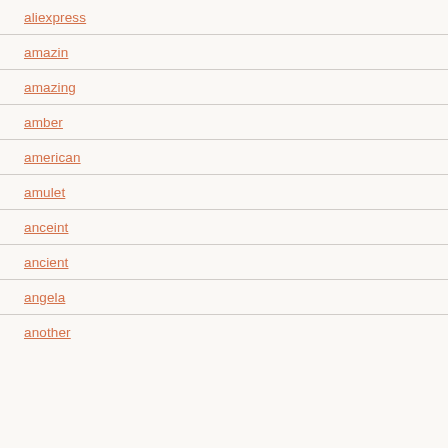aliexpress
amazin
amazing
amber
american
amulet
anceint
ancient
angela
another